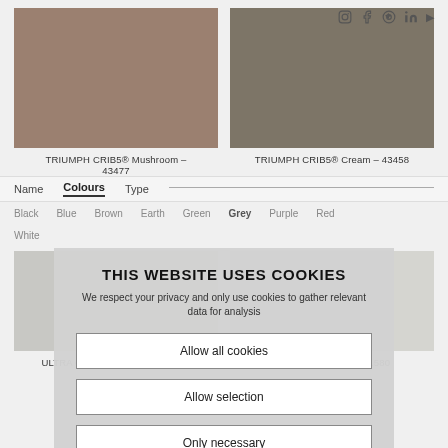[Figure (screenshot): Website screenshot showing color swatches and cookie consent overlay]
TRIUMPH CRIB5® Mushroom - 43477
TRIUMPH CRIB5® Cream - 43458
Name  Colours  Type
Black  Blue  Brown  Earth  Green  Grey  Purple  Red  White
THIS WEBSITE USES COOKIES
We respect your privacy and only use cookies to gather relevant data for analysis
Allow all cookies
Allow selection
Only necessary
ULTRA CRIBS Anthrozite - 41615
ULTRA Anthrozite - 41580
Necessary  Preferences  Statistics  Marketing
See privacy policy